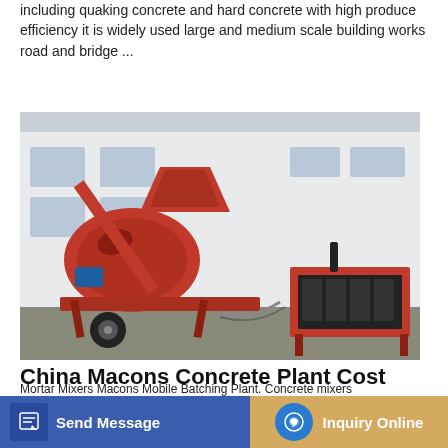including quaking concrete and hard concrete with high produce efficiency it is widely used large and medium scale building works road and bridge ...
[Figure (illustration): Button labeled 'Learn More' with cyan/teal background and white bold text]
[Figure (photo): Red mobile concrete mixer and batching plant equipment with a drum, hopper, conveyor arm, and generator unit, parked on a concrete surface in front of a white building]
China Macons Concrete Plant Cost
Mortar Mixers Macons Mobile Batching Plant. Concrete mixers
[Figure (other): Bottom navigation bar with 'Send Message' button (blue background, document icon) and 'Inquiry Online' button (tan/gold background, blue circular chat icon)]